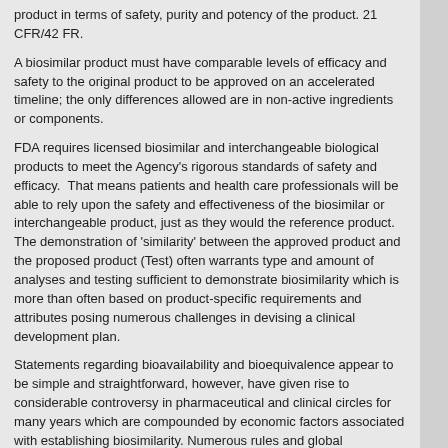product in terms of safety, purity and potency of the product. 21 CFR/42 FR.
A biosimilar product must have comparable levels of efficacy and safety to the original product to be approved on an accelerated timeline; the only differences allowed are in non-active ingredients or components.
FDA requires licensed biosimilar and interchangeable biological products to meet the Agency's rigorous standards of safety and efficacy.  That means patients and health care professionals will be able to rely upon the safety and effectiveness of the biosimilar or interchangeable product, just as they would the reference product. The demonstration of 'similarity' between the approved product and the proposed product (Test) often warrants type and amount of analyses and testing sufficient to demonstrate biosimilarity which is more than often based on product-specific requirements and attributes posing numerous challenges in devising a clinical development plan.
Statements regarding bioavailability and bioequivalence appear to be simple and straightforward, however, have given rise to considerable controversy in pharmaceutical and clinical circles for many years which are compounded by economic factors associated with establishing biosimilarity. Numerous rules and global regulations have been issued and equal, if not more, number of interpretations and opinions have been reported primarily due to our insufficient understanding of the scope and depth of fundamental considerations associated with pharmaceutical as well as clinical development plan.
Challenges, more than often, surface while designing investigations – clinical and non-clinical – that would meet the nebulously defined, if not product specific, criteria to satisfy the demonstration of 'similarity' and 'totality of evidence'. To address such challenges, one has to adopt an 'out of the box' approache(s) that are scientifically sound and are convincing and compelling